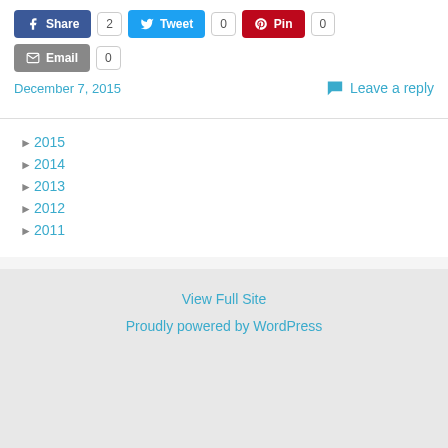[Figure (other): Social share buttons: Facebook Share (count 2), Twitter Tweet (count 0), Pinterest Pin (count 0), Email (count 0)]
December 7, 2015
Leave a reply
► 2015
► 2014
► 2013
► 2012
► 2011
View Full Site
Proudly powered by WordPress